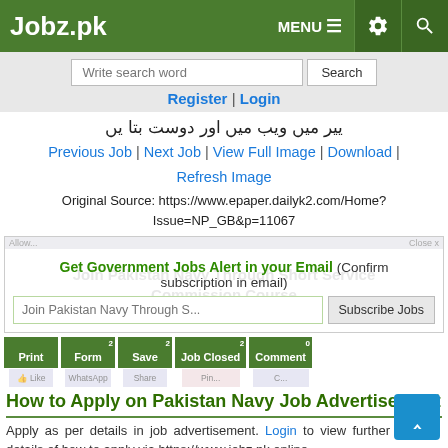Jobz.pk | MENU
Write search word | Search
Register | Login
(Urdu text - job advertisement)
Previous Job | Next Job | View Full Image | Download | Refresh Image
Original Source: https://www.epaper.dailyk2.com/Home?Issue=NP_GB&p=11067
Get Government Jobs Alert in your Email (Confirm subscription in email)
Join Pakistan Navy Through Short Service Commission Course (watermark)
Subscribe Jobs
Print 2 | Form 2 | Save 2 | Job Closed 0 | Comment 0
How to Apply on Pakistan Navy Job Advertisement
Apply as per details in job advertisement. Login to view further details of how to apply via https://www.jobz.pk online.